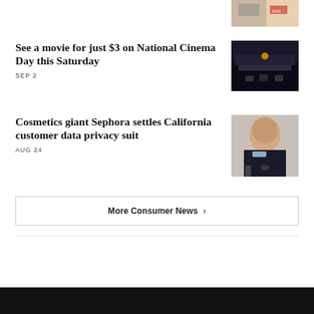[Figure (photo): Small thumbnail photo at top right, appears to show outdoor scene with signage]
See a movie for just $3 on National Cinema Day this Saturday
SEP 2
[Figure (photo): Dark photo of cinema audience or movie theater interior]
Cosmetics giant Sephora settles California customer data privacy suit
AUG 24
[Figure (photo): Photo of a man in a dark suit with light blue tie speaking at a podium with microphone]
More Consumer News ›